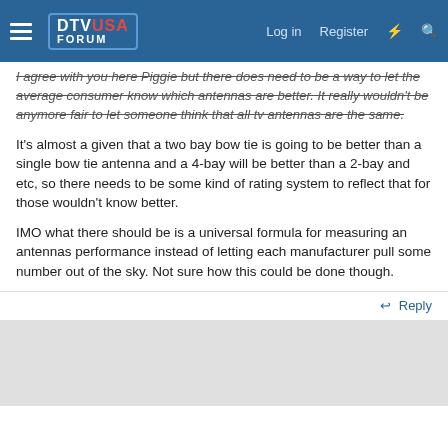DTV USA FORUM | Log in | Register
I agree with you here Piggie but there does need to be a way to let the average consumer know which antennas are better. It really wouldn't be anymore fair to let someone think that all tv antennas are the same.
It's almost a given that a two bay bow tie is going to be better than a single bow tie antenna and a 4-bay will be better than a 2-bay and etc, so there needs to be some kind of rating system to reflect that for those wouldn't know better.
IMO what there should be is a universal formula for measuring an antennas performance instead of letting each manufacturer pull some number out of the sky. Not sure how this could be done though.
↩ Reply